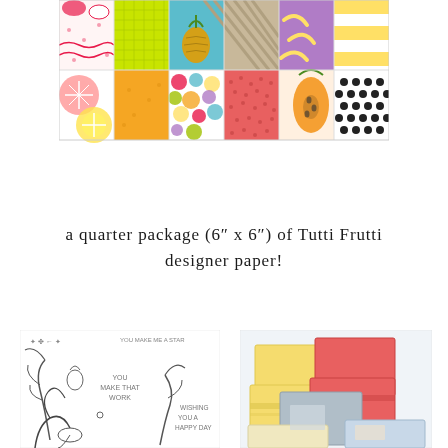[Figure (illustration): A colorful grid of Tutti Frutti designer paper patterns showing fruit and abstract designs including citrus slices, pineapples, bananas, polka dots, stripes, and other tropical patterns in various colors.]
a quarter package (6″ x 6″) of Tutti Frutti designer paper!
[Figure (illustration): A stamp set with line-art illustrations of tropical plants and text sentiments.]
[Figure (illustration): Colorful pastel envelopes and cards in yellow, coral, blue, and grey arranged in a stack.]